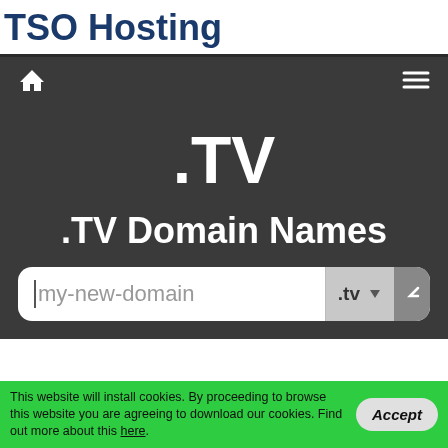TSO Hosting
[Figure (screenshot): Navigation bar with home icon and hamburger menu icon on dark background]
.TV
.TV Domain Names
[Figure (screenshot): Search input box with placeholder 'my-new-domain' and .tv dropdown selector]
This website will install cookies. By proceeding to browse this website you are agreeing to download our cookies. Find out more about this here.